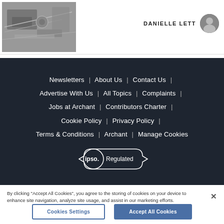[Figure (photo): Black and white photo of mechanical equipment, top-left corner of page]
DANIELLE LETT
[Figure (photo): Small circular avatar photo of Danielle Lett]
Newsletters | About Us | Contact Us | Advertise With Us | All Topics | Complaints | Jobs at Archant | Contributors Charter | Cookie Policy | Privacy Policy | Terms & Conditions | Archant | Manage Cookies
[Figure (logo): IPSO Regulated badge - circular IPSO logo with Regulated ribbon]
By clicking "Accept All Cookies", you agree to the storing of cookies on your device to enhance site navigation, analyze site usage, and assist in our marketing efforts.
Cookies Settings
Accept All Cookies